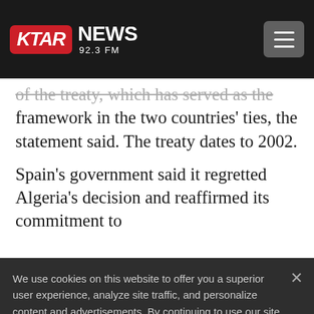KTAR NEWS 92.3 FM
of the treaty, which has served as the framework in the two countries' ties, the statement said. The treaty dates to 2002.
Spain's government said it regretted Algeria's decision and reaffirmed its commitment to
We use cookies on this website to offer you a superior user experience, analyze site traffic, and personalize content and advertisements. By continuing to use our site, you consent to our use of cookies. Please visit our Privacy Policy for more information.
Accept Cookies